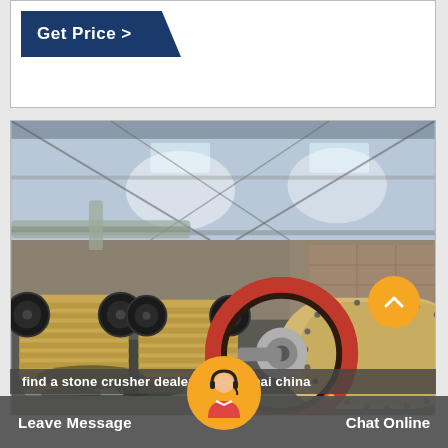Get Price >
[Figure (photo): Industrial factory floor showing large yellow jaw crushers and a large cylindrical ball mill with red ring gear, inside a steel-framed warehouse with natural lighting from skylights.]
find a stone crusher dealer in shanghai china
Leave Message
Chat Online